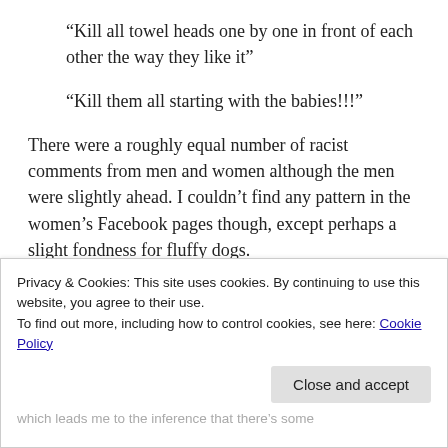“Kill all towel heads one by one in front of each other the way they like it”
“Kill them all starting with the babies!!!”
There were a roughly equal number of racist comments from men and women although the men were slightly ahead. I couldn’t find any pattern in the women’s Facebook pages though, except perhaps a slight fondness for fluffy dogs.
There were 82 men making overtly racist comments
Privacy & Cookies: This site uses cookies. By continuing to use this website, you agree to their use.
To find out more, including how to control cookies, see here: Cookie Policy
Close and accept
which leads me to the inference that there’s some